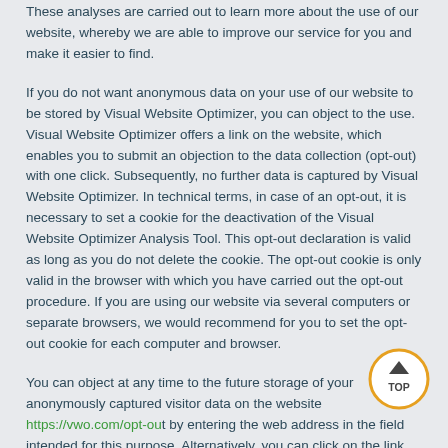These analyses are carried out to learn more about the use of our website, whereby we are able to improve our service for you and make it easier to find.
If you do not want anonymous data on your use of our website to be stored by Visual Website Optimizer, you can object to the use. Visual Website Optimizer offers a link on the website, which enables you to submit an objection to the data collection (opt-out) with one click. Subsequently, no further data is captured by Visual Website Optimizer. In technical terms, in case of an opt-out, it is necessary to set a cookie for the deactivation of the Visual Website Optimizer Analysis Tool. This opt-out declaration is valid as long as you do not delete the cookie. The opt-out cookie is only valid in the browser with which you have carried out the opt-out procedure. If you are using our website via several computers or separate browsers, we would recommend for you to set the opt-out cookie for each computer and browser.
You can object at any time to the future storage of your anonymously captured visitor data on the website https://vwo.com/opt-out by entering the web address in the field intended for this purpose. Alternatively, you can click on the link "Disable VWO" on the same page, to raise an objection for all internet